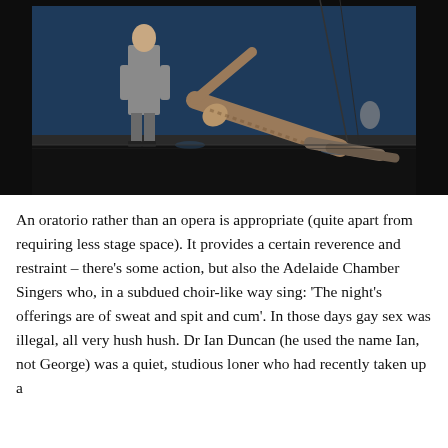[Figure (photo): A theatrical stage scene: one man standing upright in the background wearing a grey suit, while another performer is in a dramatic low pose/stretch on the stage floor. The stage has dark blue lighting and what appears to be ropes or rigging overhead.]
An oratorio rather than an opera is appropriate (quite apart from requiring less stage space). It provides a certain reverence and restraint – there's some action, but also the Adelaide Chamber Singers who, in a subdued choir-like way sing: 'The night's offerings are of sweat and spit and cum'. In those days gay sex was illegal, all very hush hush. Dr Ian Duncan (he used the name Ian, not George) was a quiet, studious loner who had recently taken up a